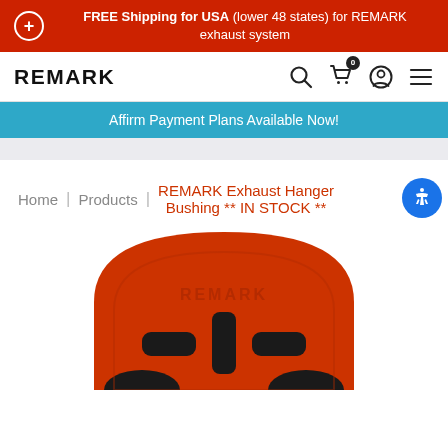FREE Shipping for USA (lower 48 states) for REMARK exhaust system
REMARK
Affirm Payment Plans Available Now!
Home | Products | REMARK Exhaust Hanger Bushing ** IN STOCK **
[Figure (photo): Red REMARK branded exhaust hanger bushing component viewed from above, showing slots and REMARK logo embossed on the surface]